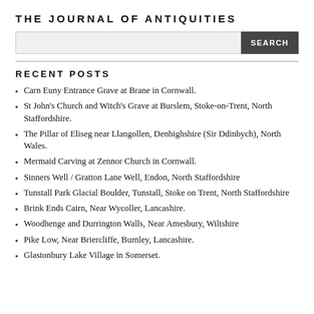THE JOURNAL OF ANTIQUITIES
RECENT POSTS
Carn Euny Entrance Grave at Brane in Cornwall.
St John's Church and Witch's Grave at Burslem, Stoke-on-Trent, North Staffordshire.
The Pillar of Eliseg near Llangollen, Denbighshire (Sir Ddinbych), North Wales.
Mermaid Carving at Zennor Church in Cornwall.
Sinners Well / Gratton Lane Well, Endon, North Staffordshire
Tunstall Park Glacial Boulder, Tunstall, Stoke on Trent, North Staffordshire
Brink Ends Cairn, Near Wycoller, Lancashire.
Woodhenge and Durrington Walls, Near Amesbury, Wiltshire
Pike Low, Near Briercliffe, Burnley, Lancashire.
Glastonbury Lake Village in Somerset.